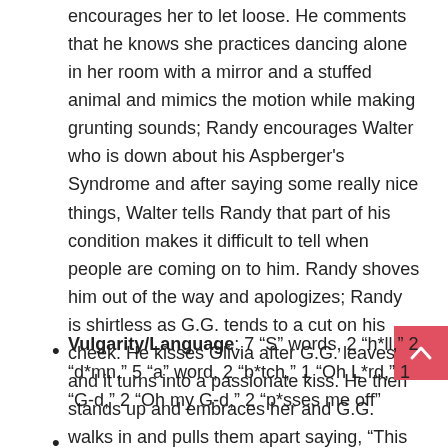encourages her to let loose. He comments that he knows she practices dancing alone in her room with a mirror and a stuffed animal and mimics the motion while making grunting sounds; Randy encourages Walter who is down about his Aspberger's Syndrome and after saying some really nice things, Walter tells Randy that part of his condition makes it difficult to tell when people are coming on to him. Randy shoves him out of the way and apologizes; Randy is shirtless as G.G. tends to a cut on his cheek. He kisses Olivia after G.G. leaves and it turns into a passionate kiss. He then stands up and embraces her and G.G. walks in and pulls them apart saying, “This is not going to turn into THAT in my house!”
Vulgarity/Language: 7 “S” words, 2 “h*ll,” 2 “d*mn,” 5 “a” word, 2 “b*tch,” 1 “Oh L*rd,” 1 “G-d,” 2 “Oh my G-d,” 2 “p*sses me off”